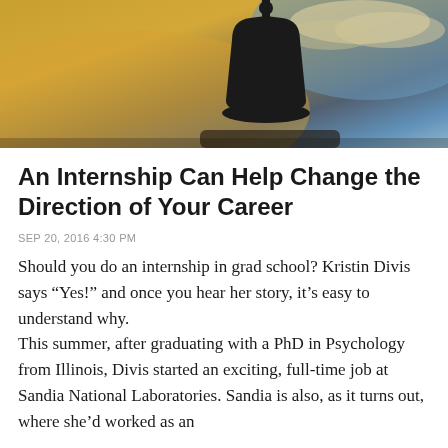[Figure (photo): Silhouette of a bell tower against a warm golden and blue sky with clouds at dusk]
An Internship Can Help Change the Direction of Your Career
SEP 20, 2016 4:30 PM
Should you do an internship in grad school? Kristin Divis says “Yes!” and once you hear her story, it’s easy to understand why.
This summer, after graduating with a PhD in Psychology from Illinois, Divis started an exciting, full-time job at Sandia National Laboratories. Sandia is also, as it turns out, where she’d worked as an